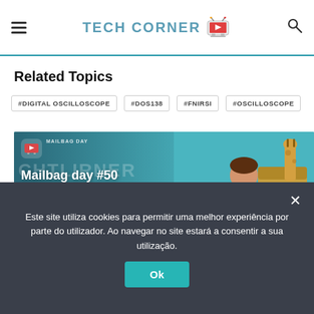TECH CORNER
Related Topics
#DIGITAL OSCILLOSCOPE
#DOS138
#FNIRSI
#OSCILLOSCOPE
[Figure (screenshot): Video thumbnail showing 'Mailbag day #50' with cartoon characters on a teal background]
Este site utiliza cookies para permitir uma melhor experiência por parte do utilizador. Ao navegar no site estará a consentir a sua utilização.